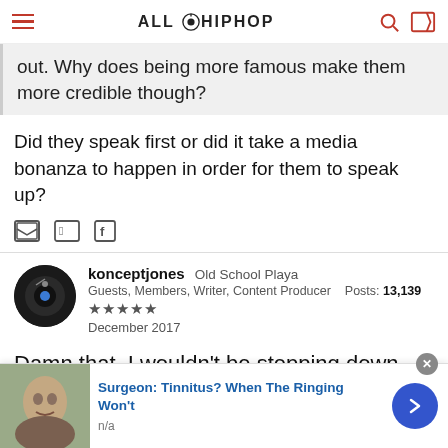ALL HIPHOP
out. Why does being more famous make them more credible though?
Did they speak first or did it take a media bonanza to happen in order for them to speak up?
konceptjones  Old School Playa  Guests, Members, Writer, Content Producer  Posts: 13,139  ★★★★★  December 2017
Damn that. I wouldn't be stepping down from not
[Figure (screenshot): Advertisement banner: Surgeon: Tinnitus? When The Ringing Won't — n/a, with a photo of a person and a blue arrow button]